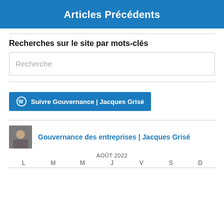Articles Précédents
Recherches sur le site par mots-clés
Recherche
Suivre Gouvernance | Jacques Grisé
Gouvernance des entreprises | Jacques Grisé
AOÛT 2022
L  M  M  J  V  S  D